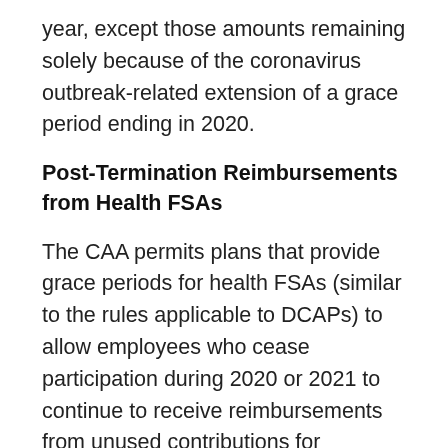year, except those amounts remaining solely because of the coronavirus outbreak-related extension of a grace period ending in 2020.
Post-Termination Reimbursements from Health FSAs
The CAA permits plans that provide grace periods for health FSAs (similar to the rules applicable to DCAPs) to allow employees who cease participation during 2020 or 2021 to continue to receive reimbursements from unused contributions for expenses incurred through the end of the year in which participation ceased, including any grace period or extended grace period with respect to that year.  For plans that provide carryovers,